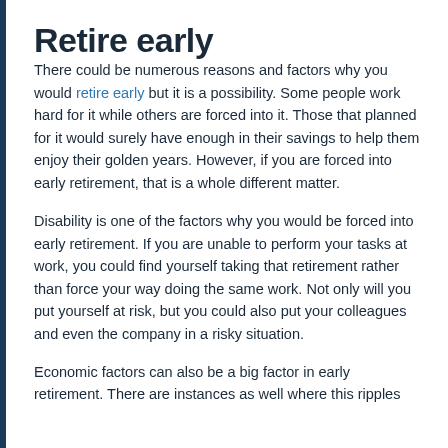Retire early
There could be numerous reasons and factors why you would retire early but it is a possibility. Some people work hard for it while others are forced into it. Those that planned for it would surely have enough in their savings to help them enjoy their golden years. However, if you are forced into early retirement, that is a whole different matter.
Disability is one of the factors why you would be forced into early retirement. If you are unable to perform your tasks at work, you could find yourself taking that retirement rather than force your way doing the same work. Not only will you put yourself at risk, but you could also put your colleagues and even the company in a risky situation.
Economic factors can also be a big factor in early retirement. There are instances as well where this ripples